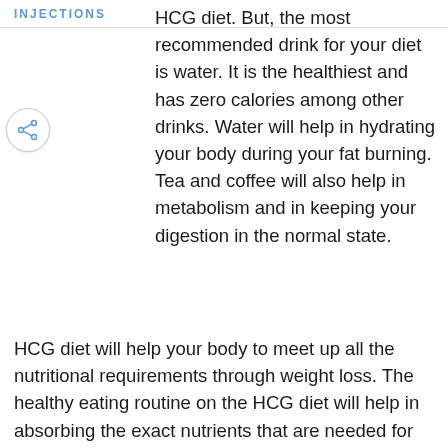INJECTIONS
HCG diet. But, the most recommended drink for your diet is water. It is the healthiest and has zero calories among other drinks. Water will help in hydrating your body during your fat burning. Tea and coffee will also help in metabolism and in keeping your digestion in the normal state.
HCG diet will help your body to meet up all the nutritional requirements through weight loss. The healthy eating routine on the HCG diet will help in absorbing the exact nutrients that are needed for your body.